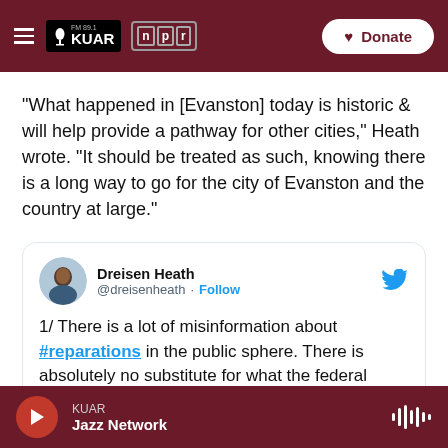FM 89.1 KUAR NPR — Donate
"What happened in [Evanston] today is historic & will help provide a pathway for other cities," Heath wrote. "It should be treated as such, knowing there is a long way to go for the city of Evanston and the country at large."
[Figure (screenshot): Embedded tweet from @dreisenheath (Dreisen Heath) with Twitter bird logo. Text reads: '1/ There is a lot of misinformation about #reparations in the public sphere. There is absolutely no substitute for what the federal']
KUAR Jazz Network (audio player bar with play button and waveform icon)